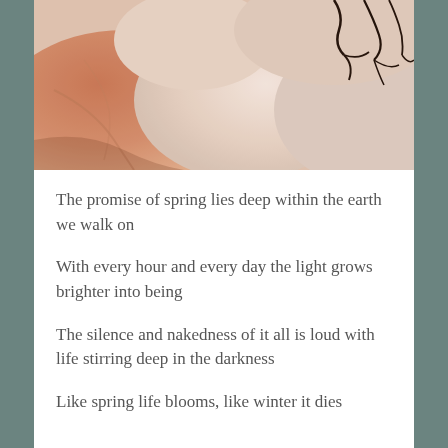[Figure (photo): Aerial or close-up view of snow dunes with warm pink/orange light casting shadows across rounded snow mounds, with dark twigs or branches visible in the upper right corner.]
The promise of spring lies deep within the earth we walk on
With every hour and every day the light grows brighter into being
The silence and nakedness of it all is loud with life stirring deep in the darkness
Like spring life blooms, like winter it dies